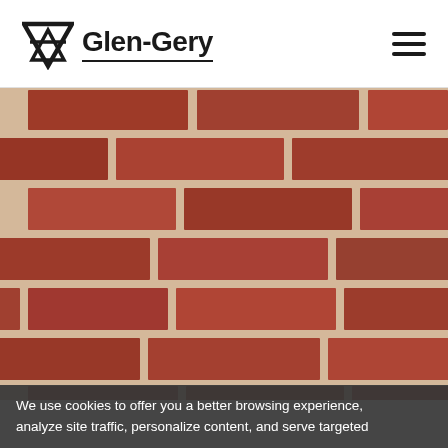[Figure (logo): Glen-Gery logo with inverted triangle/shield icon and company name in bold sans-serif, with underline beneath the text]
[Figure (photo): Close-up photograph of red/brown brick wall with light mortar joints in a running bond pattern]
We use cookies to offer you a better browsing experience, analyze site traffic, personalize content, and serve targeted